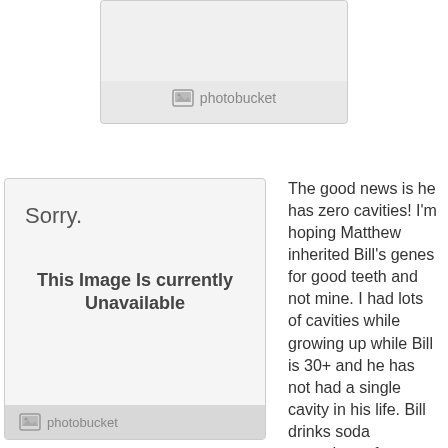[Figure (screenshot): Photobucket placeholder image box at top center of page, showing a light gray box with Photobucket logo and label]
[Figure (screenshot): Photobucket 'Sorry. This Image Is currently Unavailable' placeholder box on the left, with Photobucket logo at bottom]
The good news is he has zero cavities! I'm hoping Matthew inherited Bill's genes for good teeth and not mine. I had lots of cavities while growing up while Bill is 30+ and he has not had a single cavity in his life. Bill drinks soda everyday, a few times a day. Unbelievable but true (and so not fair)!